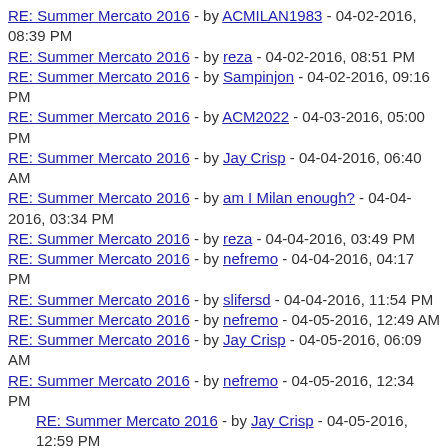RE: Summer Mercato 2016 - by ACMILAN1983 - 04-02-2016, 08:39 PM
RE: Summer Mercato 2016 - by reza - 04-02-2016, 08:51 PM
RE: Summer Mercato 2016 - by Sampinjon - 04-02-2016, 09:16 PM
RE: Summer Mercato 2016 - by ACM2022 - 04-03-2016, 05:00 PM
RE: Summer Mercato 2016 - by Jay Crisp - 04-04-2016, 06:40 AM
RE: Summer Mercato 2016 - by am I Milan enough? - 04-04-2016, 03:34 PM
RE: Summer Mercato 2016 - by reza - 04-04-2016, 03:49 PM
RE: Summer Mercato 2016 - by nefremo - 04-04-2016, 04:17 PM
RE: Summer Mercato 2016 - by slifersd - 04-04-2016, 11:54 PM
RE: Summer Mercato 2016 - by nefremo - 04-05-2016, 12:49 AM
RE: Summer Mercato 2016 - by Jay Crisp - 04-05-2016, 06:09 AM
RE: Summer Mercato 2016 - by nefremo - 04-05-2016, 12:34 PM
RE: Summer Mercato 2016 - by Jay Crisp - 04-05-2016, 12:59 PM
RE: Summer Mercato 2016 - by nefremo - 04-05-2016, 01:10